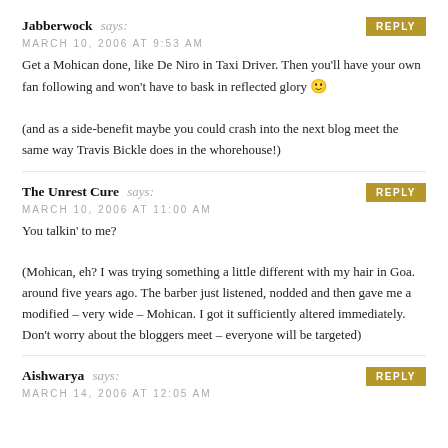Jabberwock says:
MARCH 10, 2006 AT 9:53 AM
Get a Mohican done, like De Niro in Taxi Driver. Then you'll have your own fan following and won't have to bask in reflected glory 🙂

(and as a side-benefit maybe you could crash into the next blog meet the same way Travis Bickle does in the whorehouse!)
The Unrest Cure says:
MARCH 10, 2006 AT 11:00 AM
You talkin' to me?

(Mohican, eh? I was trying something a little different with my hair in Goa. around five years ago. The barber just listened, nodded and then gave me a modified – very wide – Mohican. I got it sufficiently altered immediately. Don't worry about the bloggers meet – everyone will be targeted)
Aishwarya says:
MARCH 14, 2006 AT 12:05 AM